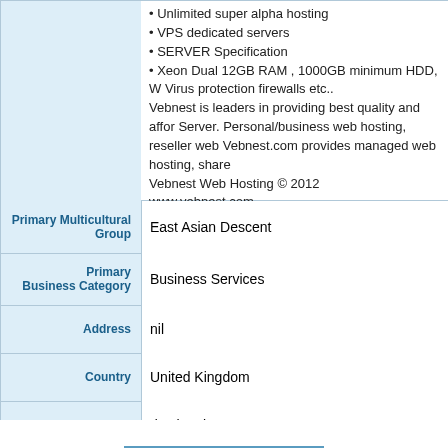• Unlimited super alpha hosting
• VPS dedicated servers
• SERVER Specification
• Xeon Dual 12GB RAM , 1000GB minimum HDD, W Virus protection firewalls etc..
Vebnest is leaders in providing best quality and affor Server. Personal/business web hosting, reseller web Vebnest.com provides managed web hosting, share Vebnest Web Hosting © 2012
www.vebnest.com
| Field | Value |
| --- | --- |
| Primary Multicultural Group | East Asian Descent |
| Primary Business Category | Business Services |
| Address | nil |
| Country | United Kingdom |
| Contact | desthosting |
| Web Site URL | www.vebnest.com |
| Phone | 9563324569 |